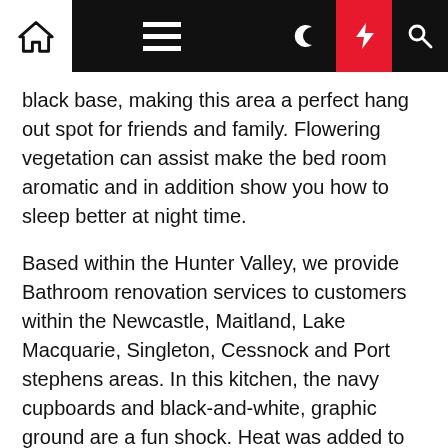Navigation bar with home, menu, moon, lightning, and search icons
black base, making this area a perfect hang out spot for friends and family. Flowering vegetation can assist make the bed room aromatic and in addition show you how to sleep better at night time.
Based within the Hunter Valley, we provide Bathroom renovation services to customers within the Newcastle, Maitland, Lake Macquarie, Singleton, Cessnock and Port stephens areas. In this kitchen, the navy cupboards and black-and-white, graphic ground are a fun shock. Heat was added to this dwelling's vivid white kitchen by gold and black accents and wooden particulars on the island, really bringing the rustic farmhouse feel to life within the house.